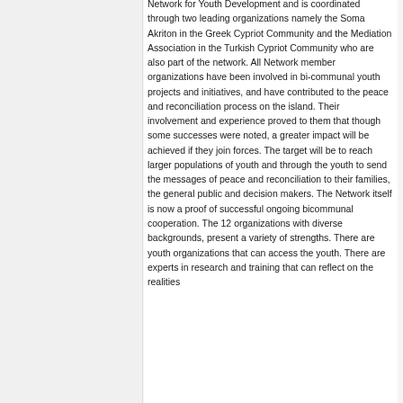Network for Youth Development and is coordinated through two leading organizations namely the Soma Akriton in the Greek Cypriot Community and the Mediation Association in the Turkish Cypriot Community who are also part of the network. All Network member organizations have been involved in bi-communal youth projects and initiatives, and have contributed to the peace and reconciliation process on the island. Their involvement and experience proved to them that though some successes were noted, a greater impact will be achieved if they join forces. The target will be to reach larger populations of youth and through the youth to send the messages of peace and reconciliation to their families, the general public and decision makers. The Network itself is now a proof of successful ongoing bicommunal cooperation. The 12 organizations with diverse backgrounds, present a variety of strengths. There are youth organizations that can access the youth. There are experts in research and training that can reflect on the realities...